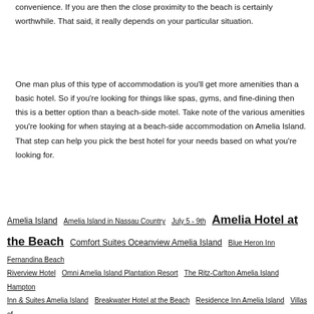convenience. If you are then the close proximity to the beach is certainly worthwhile. That said, it really depends on your particular situation.
One man plus of this type of accommodation is you'll get more amenities than a basic hotel. So if you're looking for things like spas, gyms, and fine-dining then this is a better option than a beach-side motel. Take note of the various amenities you're looking for when staying at a beach-side accommodation on Amelia Island. That step can help you pick the best hotel for your needs based on what you're looking for.
Amelia Island  Amelia Island in Nassau Country  July 5 - 9th  Amelia Hotel at the Beach  Comfort Suites Oceanview Amelia Island  Blue Heron Inn Fernandina Beach  Riverview Hotel  Omni Amelia Island Plantation Resort  The Ritz-Carlton Amelia Island  Hampton Inn & Suites Amelia Island  Breakwater Hotel at the Beach  Residence Inn Amelia Island  Villas of Amelia Island Plantation  Fernandina Beach  oceanview  MTU0ODAwNDg1NQ*  amelia